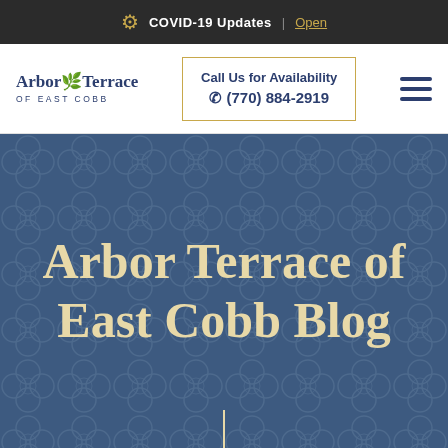COVID-19 Updates | Open
[Figure (logo): Arbor Terrace of East Cobb logo with leaf icon]
Call Us for Availability
☎ (770) 884-2919
Arbor Terrace of East Cobb Blog